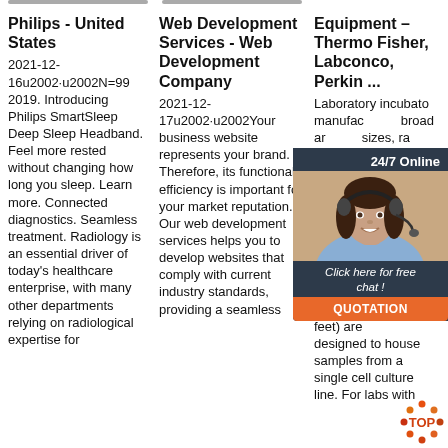Philips - United States
2021-12-16u2002·u2002N=99 2019. Introducing Philips SmartSleep Deep Sleep Headband. Feel more rested without changing how long you sleep. Learn more. Connected diagnostics. Seamless treatment. Radiology is an essential driver of today's healthcare enterprise, with many other departments relying on radiological expertise for
Web Development Services - Web Development Company
2021-12-17u2002·u2002Your business website represents your brand. Therefore, its functional efficiency is important for your market reputation. Our web development services helps you to develop websites that comply with current industry standards, providing a seamless
Equipment – Thermo Fisher, Labconco, Perkin ...
Laboratory incubator manufacturers offer a broad array of sizes, ranging from compact benchtop units smaller than 1 cubic foot in capacity, to large chamber models more than 40 cubic feet. Compact incubators (small-footprint, counter-top models under 6 cubic feet) are designed to house samples from a single cell culture line. For labs with
[Figure (infographic): Customer service chat widget overlay with '24/7 Online' header, a woman with headset photo, 'Click here for free chat!' text, and an orange QUOTATION button]
[Figure (logo): Orange and red TOP logo in bottom right corner]